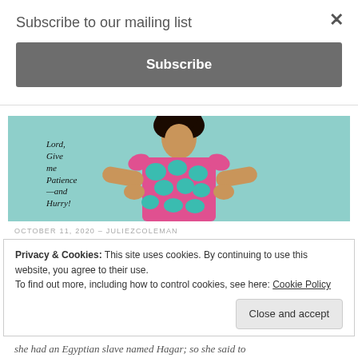Subscribe to our mailing list
Subscribe
[Figure (photo): Woman wearing a colorful pink and teal floral dress standing against a teal background with hands on hips. Text overlay reads: Lord, Give me Patience —and Hurry!]
OCTOBER 11, 2020 – JULIEZCOLEMAN
Privacy & Cookies: This site uses cookies. By continuing to use this website, you agree to their use.
To find out more, including how to control cookies, see here: Cookie Policy
Close and accept
she had an Egyptian slave named Hagar; so she said to